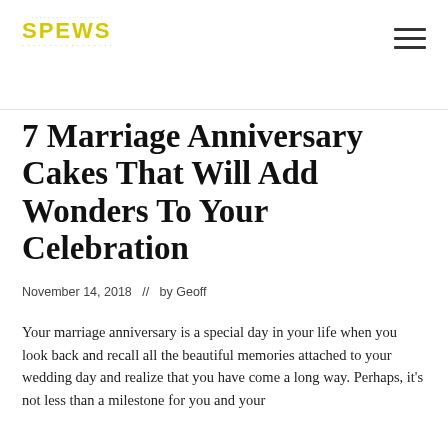SPEWS
7 Marriage Anniversary Cakes That Will Add Wonders To Your Celebration
November 14, 2018  //  by Geoff
Your marriage anniversary is a special day in your life when you look back and recall all the beautiful memories attached to your wedding day and realize that you have come a long way. Perhaps, it's not less than a milestone for you and your